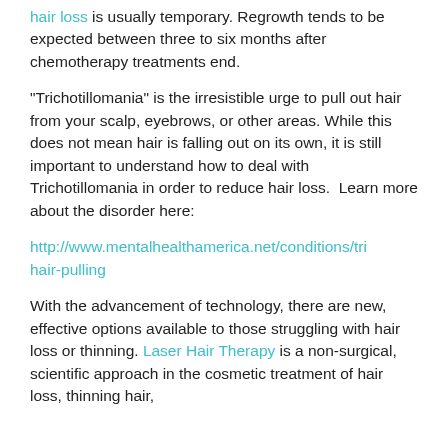hair loss is usually temporary. Regrowth tends to be expected between three to six months after chemotherapy treatments end.
“Trichotillomania” is the irresistible urge to pull out hair from your scalp, eyebrows, or other areas. While this does not mean hair is falling out on its own, it is still important to understand how to deal with Trichotillomania in order to reduce hair loss.  Learn more about the disorder here:
http://www.mentalhealthamerica.net/conditions/tri hair-pulling
With the advancement of technology, there are new, effective options available to those struggling with hair loss or thinning. Laser Hair Therapy is a non-surgical, scientific approach in the cosmetic treatment of hair loss, thinning hair,